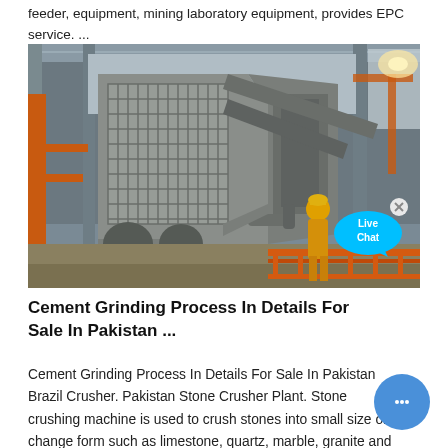feeder, equipment, mining laboratory equipment, provides EPC service. ...
[Figure (photo): Industrial mining/cement plant interior showing large crushing or grinding machinery in a steel-framed factory building. A worker in a yellow safety suit and hard hat stands in front of the grey machinery. A 'Live Chat' speech-bubble overlay is visible in the upper right area of the photo.]
Cement Grinding Process In Details For Sale In Pakistan ...
Cement Grinding Process In Details For Sale In Pakistan Brazil Crusher. Pakistan Stone Crusher Plant. Stone crushing machine is used to crush stones into small size or change form such as limestone, quartz, marble, granite and ...
Grinding Balls for Cement Vertical Cement Mill for Sale In...